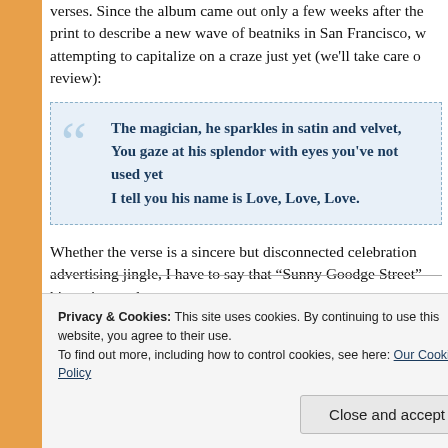verses. Since the album came out only a few weeks after the print to describe a new wave of beatniks in San Francisco, w attempting to capitalize on a craze just yet (we'll take care o review):
The magician, he sparkles in satin and velvet, You gaze at his splendor with eyes you've not used yet I tell you his name is Love, Love, Love.
Whether the verse is a sincere but disconnected celebration advertising jingle, I have to say that "Sunny Goodge Street" his entire catalog.
Privacy & Cookies: This site uses cookies. By continuing to use this website, you agree to their use. To find out more, including how to control cookies, see here: Our Cookie Policy